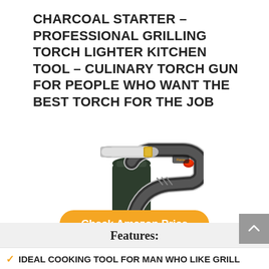CHARCOAL STARTER – PROFESSIONAL GRILLING TORCH LIGHTER KITCHEN TOOL – CULINARY TORCH GUN FOR PEOPLE WHO WANT THE BEST TORCH FOR THE JOB
[Figure (photo): A professional culinary torch gun / charcoal starter with a silver nozzle, gold fitting, black and silver grip body with red button, and a dark green/black cylindrical butane canister attached at the bottom.]
Check Amazon Price
Features:
IDEAL COOKING TOOL FOR MAN WHO LIKE GRILL